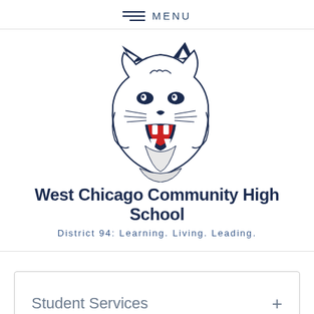MENU
[Figure (logo): West Chicago Community High School wildcat mascot logo — stylized bobcat/wildcat head with open mouth, rendered in dark navy blue line art]
West Chicago Community High School
District 94: Learning. Living. Leading.
Student Services